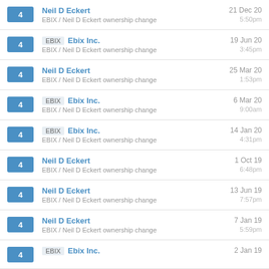4 | Neil D Eckert | EBIX / Neil D Eckert ownership change | 21 Dec 20 | 5:50pm
4 | EBIX Ebix Inc. | EBIX / Neil D Eckert ownership change | 19 Jun 20 | 3:45pm
4 | Neil D Eckert | EBIX / Neil D Eckert ownership change | 25 Mar 20 | 1:53pm
4 | EBIX Ebix Inc. | EBIX / Neil D Eckert ownership change | 6 Mar 20 | 9:00am
4 | EBIX Ebix Inc. | EBIX / Neil D Eckert ownership change | 14 Jan 20 | 4:31pm
4 | Neil D Eckert | EBIX / Neil D Eckert ownership change | 1 Oct 19 | 6:48pm
4 | Neil D Eckert | EBIX / Neil D Eckert ownership change | 13 Jun 19 | 7:57pm
4 | Neil D Eckert | EBIX / Neil D Eckert ownership change | 7 Jan 19 | 5:59pm
4 | EBIX Ebix Inc. | 2 Jan 19